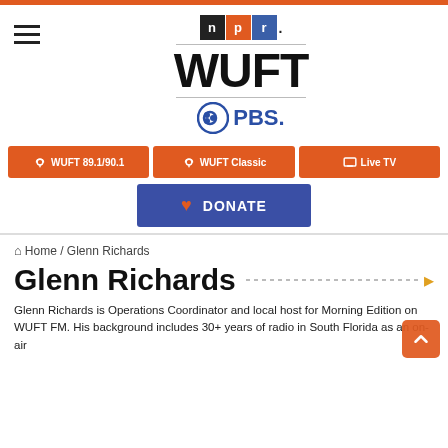[Figure (logo): WUFT NPR/PBS logo with hamburger menu icon and NPR wordmark, WUFT in large bold text, PBS logo with circle icon]
⊙ WUFT 89.1/90.1   ⊙ WUFT Classic   □ Live TV
♥ DONATE
🏠 Home / Glenn Richards
Glenn Richards
Glenn Richards is Operations Coordinator and local host for Morning Edition on WUFT FM. His background includes 30+ years of radio in South Florida as an on-air